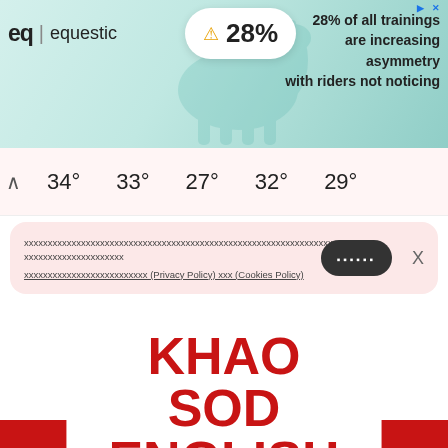[Figure (screenshot): Equestic advertisement banner showing logo, warning triangle with 28% badge, and text '28% of all trainings are increasing asymmetry with riders not noticing']
34° 33° 27° 32° 29°
xxxxxxxxxxxxxxxxxxxxxxxxxxxxxxxxxxxxxxxxxxxxxxxxxxxxxxxxxxxxxxxxxxxxxxxxxxxxxxxxxxxxxxxx xxxxxxxxxxxxxxxxxxxxxxxxxxxxxxx (Privacy Policy) xxx (Cookies Policy)
[Figure (logo): Khao Sod English logo on red background with white speech bubble shape]